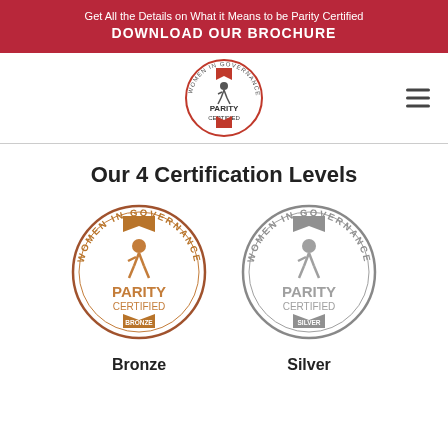Get All the Details on What it Means to be Parity Certified
DOWNLOAD OUR BROCHURE
[Figure (logo): Parity Certified Women in Governance circular logo badge with red accents]
Our 4 Certification Levels
[Figure (logo): Parity Certified Women in Governance Bronze level circular badge in bronze/copper color]
Bronze
[Figure (logo): Parity Certified Women in Governance Silver level circular badge in silver/grey color]
Silver